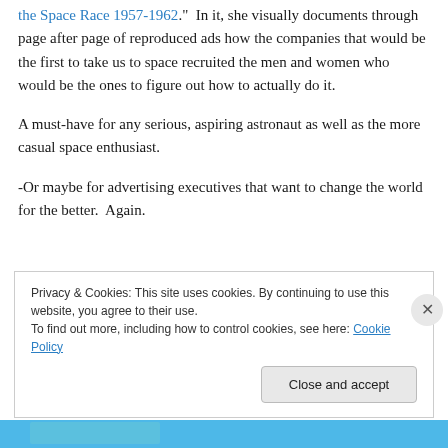the Space Race 1957-1962."  In it, she visually documents through page after page of reproduced ads how the companies that would be the first to take us to space recruited the men and women who would be the ones to figure out how to actually do it.
A must-have for any serious, aspiring astronaut as well as the more casual space enthusiast.
-Or maybe for advertising executives that want to change the world for the better.  Again.
Privacy & Cookies: This site uses cookies. By continuing to use this website, you agree to their use.
To find out more, including how to control cookies, see here: Cookie Policy